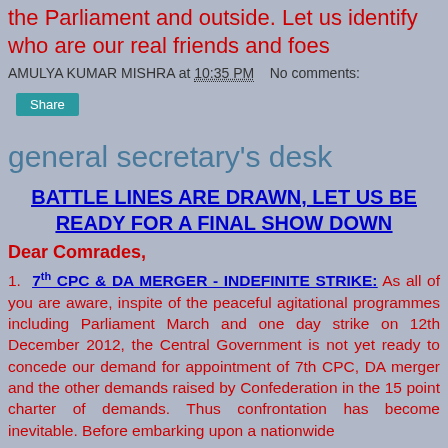the Parliament and outside. Let us identify who are our real friends and foes
AMULYA KUMAR MISHRA at 10:35 PM    No comments:
[Figure (other): Share button (teal/cyan background)]
general secretary's desk
BATTLE LINES ARE DRAWN, LET US BE READY FOR A FINAL SHOW DOWN
Dear Comrades,
1. 7th CPC & DA MERGER - INDEFINITE STRIKE: As all of you are aware, inspite of the peaceful agitational programmes including Parliament March and one day strike on 12th December 2012, the Central Government is not yet ready to concede our demand for appointment of 7th CPC, DA merger and the other demands raised by Confederation in the 15 point charter of demands. Thus confrontation has become inevitable. Before embarking upon a nationwide